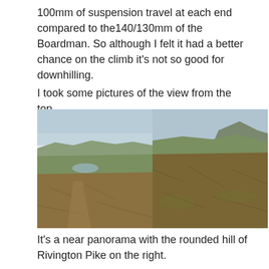100mm of suspension travel at each end compared to the140/130mm of the Boardman. So although I felt it had a better chance on the climb it's not so good for downhilling.
I took some pictures of the view from the top.
[Figure (photo): Two side-by-side panoramic photos of a moorland hilltop view. Left photo shows a wide valley landscape with fields and a reservoir. Right photo shows a rounded hill (Rivington Pike) in the distance over moorland grasses.]
It's a near panorama with the rounded hill of Rivington Pike on the right.
The next part of interest was the superb downhill segment to the right of Wilderswood. A classic which I used to ride in sub 2 minutes. Today I recorded my fastest time since I